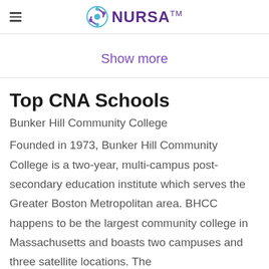NURSA™
Show more
Top CNA Schools
Bunker Hill Community College
Founded in 1973, Bunker Hill Community College is a two-year, multi-campus post-secondary education institute which serves the Greater Boston Metropolitan area. BHCC happens to be the largest community college in Massachusetts and boasts two campuses and three satellite locations. The